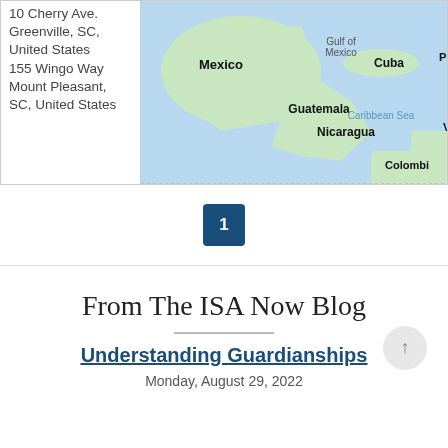10 Cherry Ave. Greenville, SC, United States
155 Wingo Way Mount Pleasant, SC, United States
[Figure (map): Map showing Central America and Caribbean region including Mexico, Cuba, Guatemala, Nicaragua, Colombia, Gulf of Mexico, Caribbean Sea]
1
From The ISA Now Blog
Understanding Guardianships
Monday, August 29, 2022